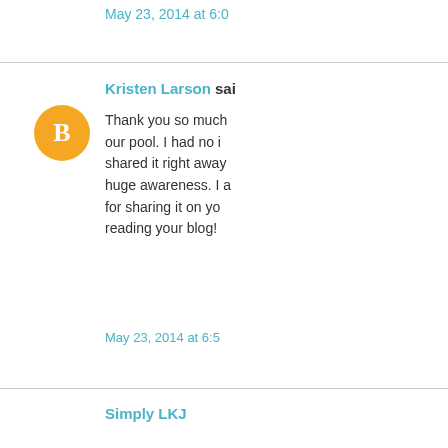May 23, 2014 at 6:0
Kristen Larson said...
Thank you so much our pool. I had no i shared it right away huge awareness. I a for sharing it on yo reading your blog!
May 23, 2014 at 6:5
Simply LKJ said...
Talk about timing. the water. That cob
May 23, 2014 at 6:5
Michele said...
I am so grateful yo